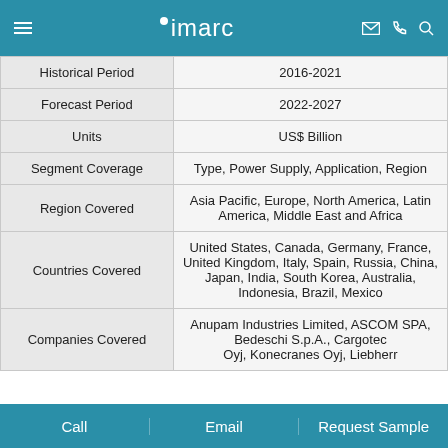imarc
|  |  |
| --- | --- |
| Historical Period | 2016-2021 |
| Forecast Period | 2022-2027 |
| Units | US$ Billion |
| Segment Coverage | Type, Power Supply, Application, Region |
| Region Covered | Asia Pacific, Europe, North America, Latin America, Middle East and Africa |
| Countries Covered | United States, Canada, Germany, France, United Kingdom, Italy, Spain, Russia, China, Japan, India, South Korea, Australia, Indonesia, Brazil, Mexico |
| Companies Covered | Anupam Industries Limited, ASCOM SPA, Bedeschi S.p.A., Cargotec Oyj, Konecranes Oyj, Liebherr... |
Call   Email   Request Sample